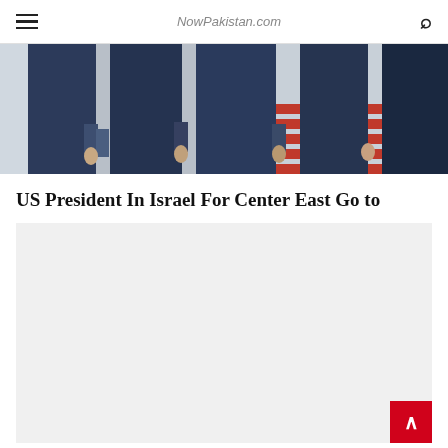NowPakistan.com
[Figure (photo): Photograph showing several men in dark suits standing on or near red carpet stairs, cropped to show their lower bodies from approximately waist down]
US President In Israel For Center East Go to
[Figure (other): Advertisement placeholder area (light grey background)]